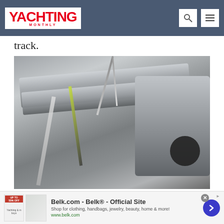YACHTING MONTHLY
track.
[Figure (photo): Close-up photograph of a silver/aluminum furling drum or sail furler mechanism on a yacht, showing a cylinder with rope/line wound around it, a black drum end fitting, and lines running through it. Hardware detail shot.]
The furling drum appears to be a standard sail furler mounted on track.
[Figure (other): Advertisement banner: Belk.com - Belk® - Official Site. Shop for clothing, handbags, jewelry, beauty, home & more! www.belk.com. Contains thumbnail images and a navigation arrow.]